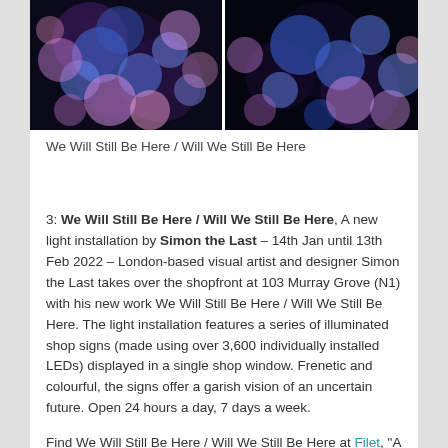[Figure (photo): Two side-by-side photos showing bokeh light effects with blue and purple circular light blurs on a dark background, resembling illuminated spheres or bubbles.]
We Will Still Be Here / Will We Still Be Here
3: We Will Still Be Here / Will We Still Be Here, A new light installation by Simon the Last – 14th Jan until 13th Feb 2022 – London-based visual artist and designer Simon the Last takes over the shopfront at 103 Murray Grove (N1) with his new work We Will Still Be Here / Will We Still Be Here. The light installation features a series of illuminated shop signs (made using over 3,600 individually installed LEDs) displayed in a single shop window. Frenetic and colourful, the signs offer a garish vision of an uncertain future. Open 24 hours a day, 7 days a week.
Find We Will Still Be Here / Will We Still Be Here at Filet, "A space for experimental art production", 103 Murray Grove, London, N1 7QE.